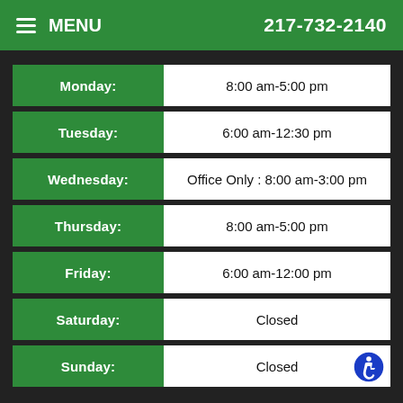MENU  217-732-2140
| Day | Hours |
| --- | --- |
| Monday: | 8:00 am-5:00 pm |
| Tuesday: | 6:00 am-12:30 pm |
| Wednesday: | Office Only : 8:00 am-3:00 pm |
| Thursday: | 8:00 am-5:00 pm |
| Friday: | 6:00 am-12:00 pm |
| Saturday: | Closed |
| Sunday: | Closed |